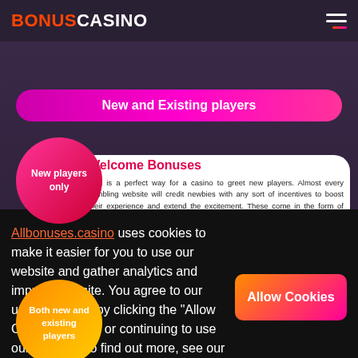BONUSCASINO
New and Existing players
New players only
Welcome Bonuses
This is a perfect way for a casino to greet new players. Almost every gambling website will credit newbies with any sort of incentives to boost their experience and extend the excitement. These come in the form of single offers and package deals.
Both new and existing players
Free Spins
One of the most popular types of bonus offers when casinos grant a certain number of bonus spins. Usually, they are attached to a specific online slot or a number of slots. Free spins may come as a no deposit bonus, as a part of welcome or loyalty promotions.
Allbonuses.casino uses cookies to make it easier for you to use our website and gather analytics and improve the site. You agree to our use of cookies by clicking the "Allow Cookies" button or continuing to use our website. To find out more, see our Privacy Policy.